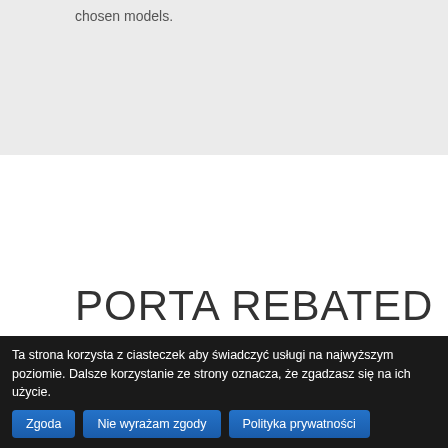chosen models.
PORTA REBATED DOORS
Ta strona korzysta z ciasteczek aby świadczyć usługi na najwyższym poziomie. Dalsze korzystanie ze strony oznacza, że zgadzasz się na ich użycie. Zgoda Nie wyrażam zgody Polityka prywatności